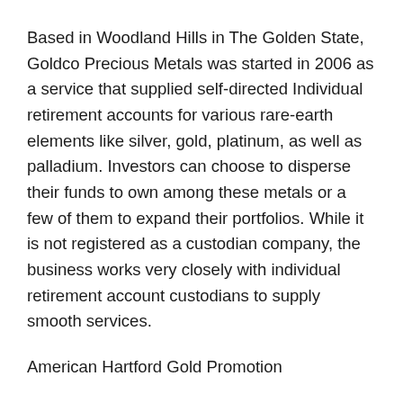Based in Woodland Hills in The Golden State, Goldco Precious Metals was started in 2006 as a service that supplied self-directed Individual retirement accounts for various rare-earth elements like silver, gold, platinum, as well as palladium. Investors can choose to disperse their funds to own among these metals or a few of them to expand their portfolios. While it is not registered as a custodian company, the business works very closely with individual retirement account custodians to supply smooth services.
American Hartford Gold Promotion
Goldco has become increasingly popular in recent days because of anticipated tax…